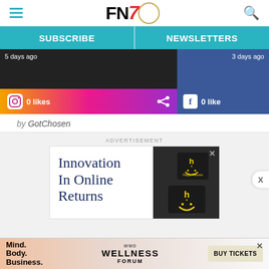FN7 — Footwear News header with hamburger menu and search icon
SUBSCRIBE | NEWSLETTERS
[Figure (screenshot): Instagram social card showing a post from 5 days ago with gradient bar, 0 likes, and share icon]
[Figure (screenshot): Facebook social card showing a post from 3 days ago with 0 likes on dark blue background]
by GotChosen
ADVERTISEMENT
[Figure (photo): Advertisement for Happy Returns: 'Innovation In Online Returns' with dark Happy Returns branded boxes with yellow smiley face logos]
[Figure (infographic): Bottom banner ad: 'Mind. Body. Business.' WWD WELLNESS FORUM — BUY TICKETS button with X close button]